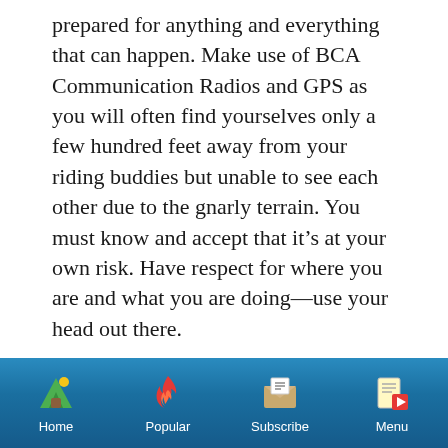prepared for anything and everything that can happen. Make use of BCA Communication Radios and GPS as you will often find yourselves only a few hundred feet away from your riding buddies but unable to see each other due to the gnarly terrain. You must know and accept that it's at your own risk. Have respect for where you are and what you are doing—use your head out there.
Check out this video for an idea of what it's all about...
[Figure (other): Mobile app navigation bar with four icons: Home (green tent with yellow sun), Popular (red flame), Subscribe (envelope with paper), Menu (document with play button). Blue gradient background.]